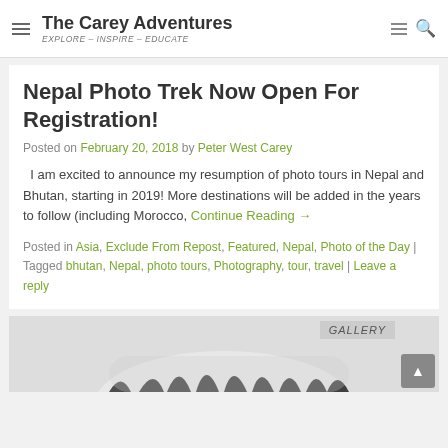The Carey Adventures — EXPLORE – INSPIRE – EDUCATE
Nepal Photo Trek Now Open For Registration!
Posted on February 20, 2018 by Peter West Carey
I am excited to announce my resumption of photo tours in Nepal and Bhutan, starting in 2019! More destinations will be added in the years to follow (including Morocco, Continue Reading →
Posted in Asia, Exclude From Repost, Featured, Nepal, Photo of the Day | Tagged bhutan, Nepal, photo tours, Photography, tour, travel | Leave a reply
[Figure (photo): Partial view of zebra stripes at the bottom of the page, with a GALLERY badge in the top right corner]